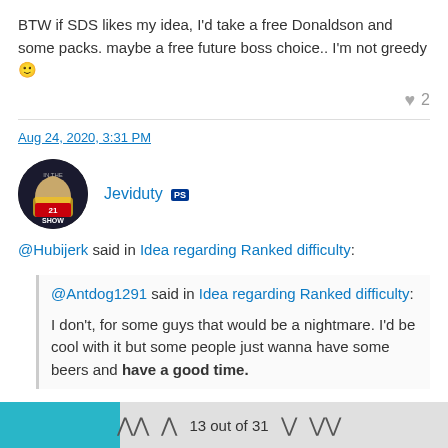BTW if SDS likes my idea, I'd take a free Donaldson and some packs. maybe a free future boss choice.. I'm not greedy 🙂
♥ 2
Aug 24, 2020, 3:31 PM
Jeviduty [PS]
@Hubijerk said in Idea regarding Ranked difficulty: @Antdog1291 said in Idea regarding Ranked difficulty: I don't, for some guys that would be a nightmare. I'd be cool with it but some people just wanna have some beers and have a good time.
13 out of 31